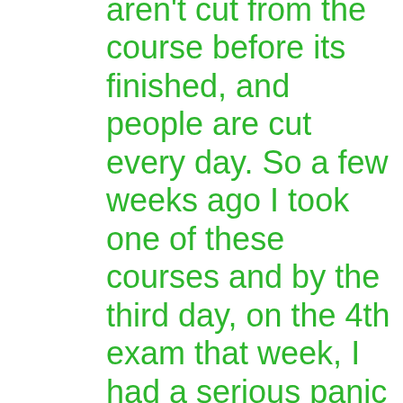aren't cut from the course before its finished, and people are cut every day. So a few weeks ago I took one of these courses and by the third day, on the 4th exam that week, I had a serious panic attack. I have never experienced something like this before – I broke out in a sweat, my